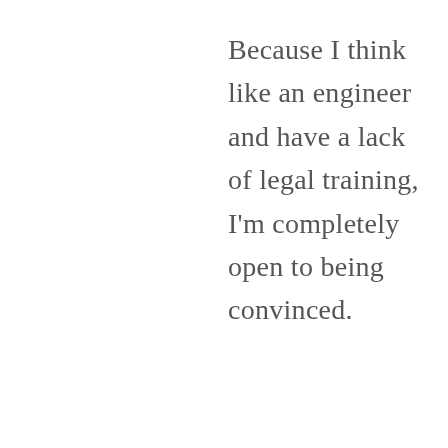Because I think like an engineer and have a lack of legal training, I'm completely open to being convinced.